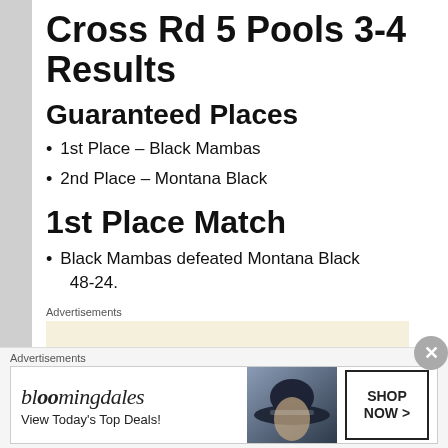Cross Rd 5 Pools 3-4 Results
Guaranteed Places
1st Place – Black Mambas
2nd Place – Montana Black
1st Place Match
Black Mambas defeated Montana Black 48-24.
Advertisements
[Figure (other): Empty advertisement placeholder box]
Advertisements
[Figure (other): Bloomingdales advertisement banner: bloomingdales logo, View Today's Top Deals!, woman with hat image, SHOP NOW > button]